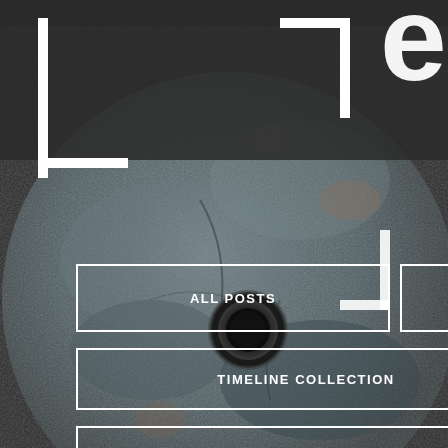[Figure (photo): A large stone disc (ancient wheel or artifact) with a hole in the center, dark grey textured surface, photographed against a dark charcoal background. Large white letters partially visible behind/over the disc.]
ALL POSTS
POSTS BY CATEGORY
TIMELINE COLLECTION
GET EMAIL NOTIFICATIONS